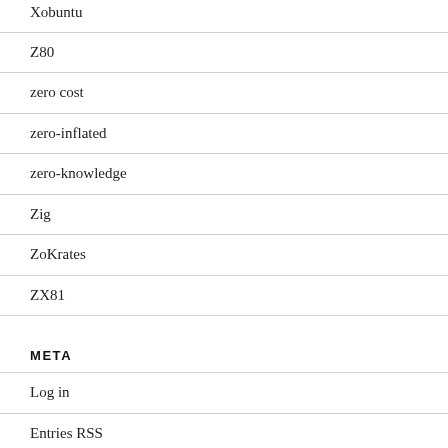Xobuntu
Z80
zero cost
zero-inflated
zero-knowledge
Zig
ZoKrates
ZX81
META
Log in
Entries RSS